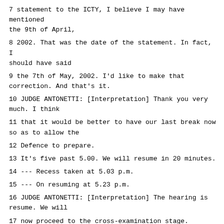7 statement to the ICTY, I believe I may have mentioned the 9th of April,
8 2002. That was the date of the statement. In fact, I should have said
9 the 7th of May, 2002. I'd like to make that correction. And that's it.
10 JUDGE ANTONETTI: [Interpretation] Thank you very much. I think
11 that it would be better to have our last break now so as to allow the
12 Defence to prepare.
13 It's five past 5.00. We will resume in 20 minutes.
14 --- Recess taken at 5.03 p.m.
15 --- On resuming at 5.23 p.m.
16 JUDGE ANTONETTI: [Interpretation] The hearing is resume. We will
17 now proceed to the cross-examination stage. Considering the questions put
18 by the Prosecution, we believe that three hours is sufficient for the